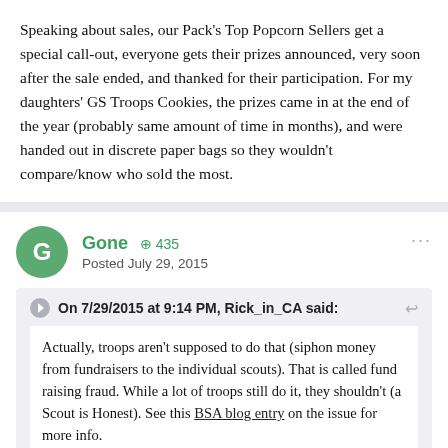Speaking about sales, our Pack's Top Popcorn Sellers get a special call-out, everyone gets their prizes announced, very soon after the sale ended, and thanked for their participation. For my daughters' GS Troops Cookies, the prizes came in at the end of the year (probably same amount of time in months), and were handed out in discrete paper bags so they wouldn't compare/know who sold the most.
Gone ⊕ 435 Posted July 29, 2015
On 7/29/2015 at 9:14 PM, Rick_in_CA said: Actually, troops aren't supposed to do that (siphon money from fundraisers to the individual scouts). That is called fund raising fraud. While a lot of troops still do it, they shouldn't (a Scout is Honest). See this BSA blog entry on the issue for more info.